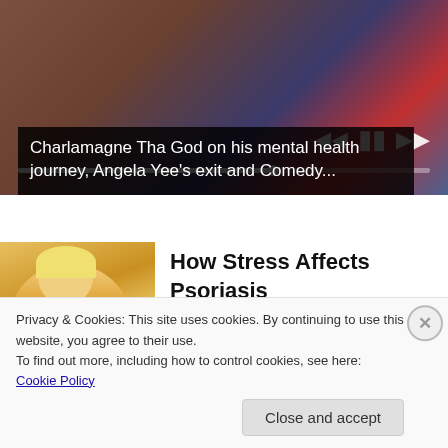[Figure (screenshot): Video media player showing two people, with playback controls (skip back, pause, skip forward) and a progress bar. Title overlay reads: Charlamagne Tha God on his mental health journey, Angela Yee's exit and Comedy...]
[Figure (photo): Photo of a woman with blonde hair in a yellow sweater looking at her arm/elbow, appearing to examine a skin condition.]
How Stress Affects Psoriasis
HealthCentral.com
Privacy & Cookies: This site uses cookies. By continuing to use this website, you agree to their use.
To find out more, including how to control cookies, see here: Cookie Policy
Close and accept